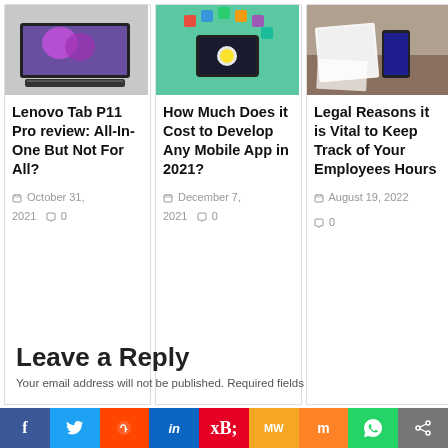[Figure (photo): Lenovo tablet with keyboard on white background]
Lenovo Tab P11 Pro review: All-In-One But Not For All?
October 31, 2021  0
[Figure (photo): Smartphone with colorful app icons floating above it]
How Much Does it Cost to Develop Any Mobile App in 2021?
December 7, 2021  0
[Figure (photo): Notebook, phone and documents on desk]
Legal Reasons it is Vital to Keep Track of Your Employees Hours
August 19, 2022
0
Leave a Reply
Your email address will not be published. Required fields
[Figure (infographic): Social sharing bar with Facebook, Twitter, Reddit, LinkedIn, Pinterest, MW, Mix, WhatsApp, Share buttons]